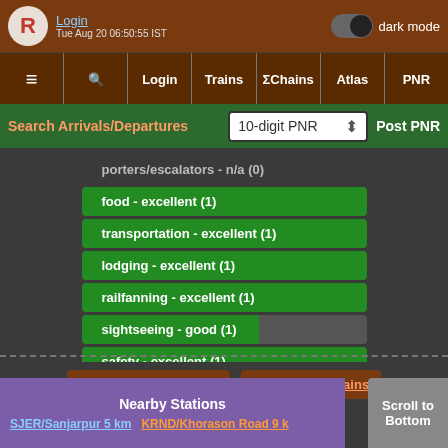Login | dark mode | Tue Aug 20 06:50:55 IST
≡ | Search | Login | Trains | ΣChains | Atlas | PNR
Search Arrivals/Departures | 10-digit PNR | Post PNR
porters/escalators - n/a (0)
food - excellent (1)
transportation - excellent (1)
lodging - excellent (1)
railfanning - excellent (1)
sightseeing - good (1)
safety - excellent (1)
10 Mail/Express Trains   2 SuperFast Trains
Show ALL Trains
Nearby Stations
SJER/Sanjarpur 5 km   KRND/Khorason Road 9 km
Scroll to Bottom